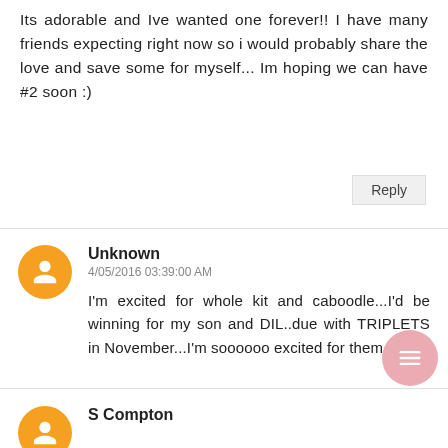Its adorable and Ive wanted one forever!! I have many friends expecting right now so i would probably share the love and save some for myself... Im hoping we can have #2 soon :)
Reply
Unknown
4/05/2016 03:39:00 AM
I'm excited for whole kit and caboodle...I'd be winning for my son and DIL..due with TRIPLETS in November...I'm soooooo excited for them
S Compton